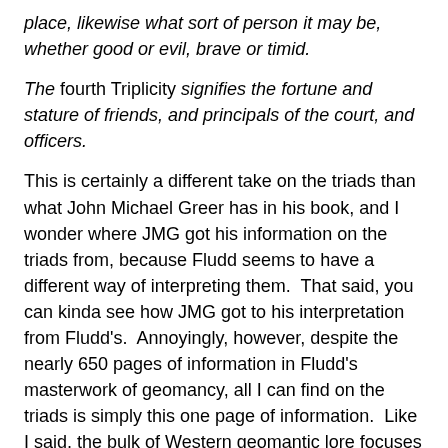place, likewise what sort of person it may be, whether good or evil, brave or timid.
The fourth Triplicity signifies the fortune and stature of friends, and principals of the court, and officers.
This is certainly a different take on the triads than what John Michael Greer has in his book, and I wonder where JMG got his information on the triads from, because Fludd seems to have a different way of interpreting them.  That said, you can kinda see how JMG got to his interpretation from Fludd's.  Annoyingly, however, despite the nearly 650 pages of information in Fludd's masterwork of geomancy, all I can find on the triads is simply this one page of information.  Like I said, the bulk of Western geomantic lore focuses on the use of the House Chart, and Fludd is no exception.